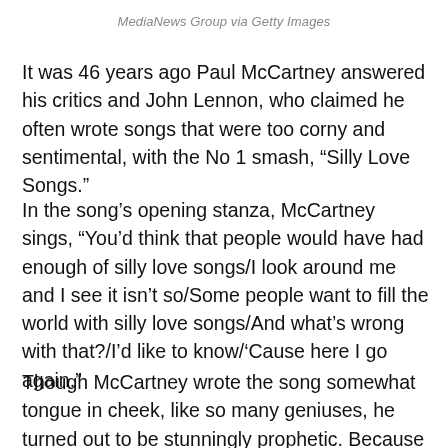MediaNews Group via Getty Images
It was 46 years ago Paul McCartney answered his critics and John Lennon, who claimed he often wrote songs that were too corny and sentimental, with the No 1 smash, “Silly Love Songs.”
In the song’s opening stanza, McCartney sings, “You’d think that people would have had enough of silly love songs/I look around me and I see it isn’t so/Some people want to fill the world with silly love songs/And what’s wrong with that?/I’d like to know/’Cause here I go again.”
Though McCartney wrote the song somewhat tongue in cheek, like so many geniuses, he turned out to be stunningly prophetic. Because watching McCartney